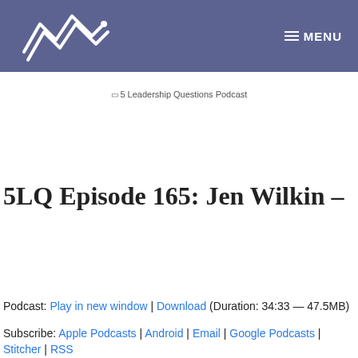5 Leadership Questions Podcast — MENU
[Figure (logo): Mountain/zigzag lines logo in white on purple/slate background]
[Figure (illustration): 5 Leadership Questions Podcast image placeholder]
5LQ Episode 165: Jen Wilkin –
[Figure (other): Audio player with play button, progress bar, 00:00 / 00:00]
Podcast: Play in new window | Download (Duration: 34:33 — 47.5MB)
Subscribe: Apple Podcasts | Android | Email | Google Podcasts | Stitcher | RSS